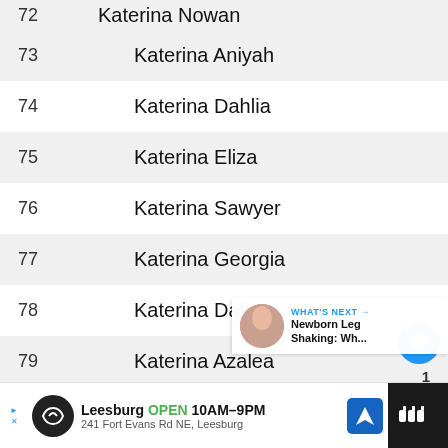| # | Name |
| --- | --- |
| 72 | Katerina Nowan |
| 73 | Katerina Aniyah |
| 74 | Katerina Dahlia |
| 75 | Katerina Eliza |
| 76 | Katerina Sawyer |
| 77 | Katerina Georgia |
| 78 | Katerina Dakota |
| 79 | Katerina Azalea |
| 80 | Katerina Amanda |
| 81 | Katerina Nicole |
| 82 | Katerina Milani |
| 83 | Katerina Willow |
WHAT'S NEXT → Newborn Leg Shaking: Wh...
Leesburg OPEN 10AM–9PM 241 Fort Evans Rd NE, Leesburg